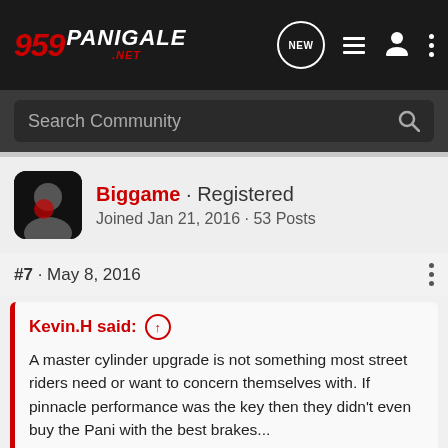959 Panigale.net – Navigation bar with logo, search, and icons
Search Community
Biggame · Registered
Joined Jan 21, 2016 · 53 Posts
#7 · May 8, 2016
Kevin.H said: ↑
A master cylinder upgrade is not something most street riders need or want to concern themselves with. If pinnacle performance was the key then they didn't even buy the Pani with the best brakes...

How are these levers aesthetic and not performance enhancing?

Ergono... ...ength
[Figure (screenshot): Suzuki GSX-S1000 GT advertisement banner at bottom of page]